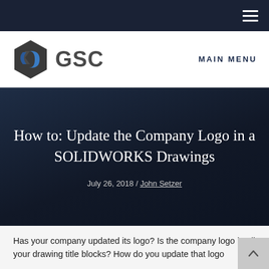[Figure (logo): GSC company logo with hexagonal icon and 'GSC' wordmark, plus 'MAIN MENU' navigation link]
How to: Update the Company Logo in a SOLIDWORKS Drawings
July 26, 2018 / John Setzer
Has your company updated its logo? Is the company logo in all your drawing title blocks? How do you update that logo